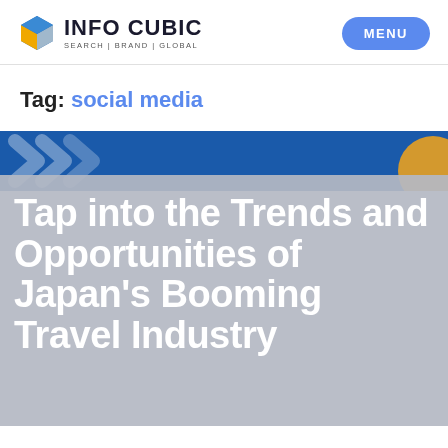INFO CUBIC SEARCH | BRAND | GLOBAL
Tag: social media
[Figure (illustration): Article card with dark blue banner at top containing white chevron arrow decorations and a partial orange circle on the right, with a gray overlay below containing white bold text]
Tap into the Trends and Opportunities of Japan's Booming Travel Industry